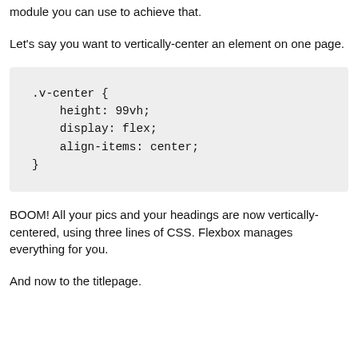module you can use to achieve that.
Let's say you want to vertically-center an element on one page.
.v-center {
    height: 99vh;
    display: flex;
    align-items: center;
}
BOOM! All your pics and your headings are now vertically-centered, using three lines of CSS. Flexbox manages everything for you.
And now to the titlepage.